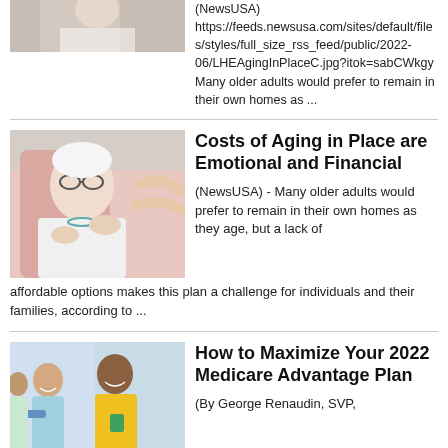[Figure (photo): Partial image of an elderly person at the top of the page (cropped)]
(NewsUSA) https://feeds.newsusa.com/sites/default/files/styles/full_size_rss_feed/public/2022-06/LHEAgingInPlaceC.jpg?itok=sabCWkgy Many older adults would prefer to remain in their own homes as ...
[Figure (photo): Elderly woman sitting in a chair being assisted by a caregiver]
Costs of Aging in Place are Emotional and Financial
(NewsUSA) - Many older adults would prefer to remain in their own homes as they age, but a lack of affordable options makes this plan a challenge for individuals and their families, according to ...
[Figure (photo): Group of older adults exercising, smiling; a man in a yellow shirt is prominent]
How to Maximize Your 2022 Medicare Advantage Plan
(By George Renaudin, SVP,